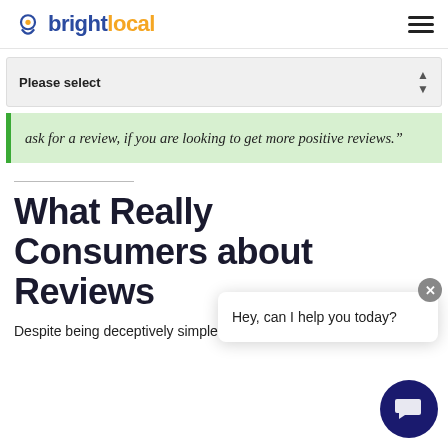brightlocal
Please select
ask for a review, if you are looking to get more positive reviews.”
What Really Consumers about Reviews
Despite being deceptively simple on the surface,
Hey, can I help you today?